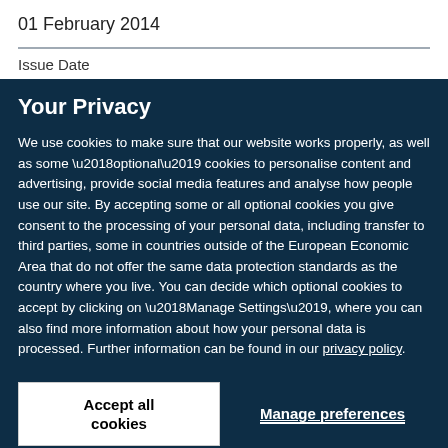01 February 2014
Issue Date
Your Privacy
We use cookies to make sure that our website works properly, as well as some ‘optional’ cookies to personalise content and advertising, provide social media features and analyse how people use our site. By accepting some or all optional cookies you give consent to the processing of your personal data, including transfer to third parties, some in countries outside of the European Economic Area that do not offer the same data protection standards as the country where you live. You can decide which optional cookies to accept by clicking on ‘Manage Settings’, where you can also find more information about how your personal data is processed. Further information can be found in our privacy policy.
Accept all cookies
Manage preferences